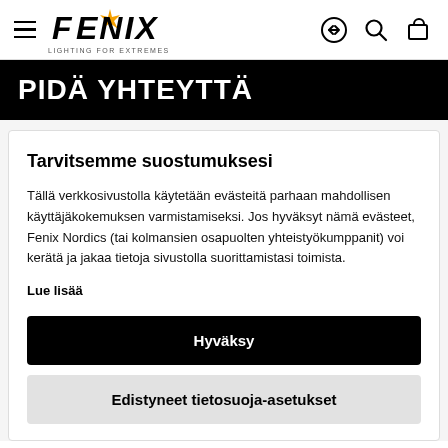[Figure (screenshot): Fenix brand navigation bar with hamburger menu, Fenix logo with orange star, and right-side icons for login, search, and cart]
PIDÄ YHTEYTTÄ
Tarvitsemme suostumuksesi
Tällä verkkosivustolla käytetään evästeitä parhaan mahdollisen käyttäjäkokemuksen varmistamiseksi. Jos hyväksyt nämä evästeet, Fenix Nordics (tai kolmansien osapuolten yhteistyökumppanit) voi kerätä ja jakaa tietoja sivustolla suorittamistasi toimista.
Lue lisää
Hyväksy
Edistyneet tietosuoja-asetukset